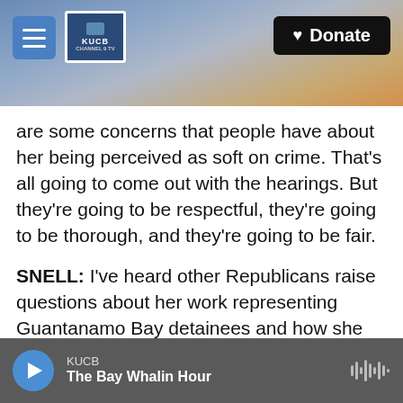[Figure (screenshot): Website header with hamburger menu button, KUCB logo, and a 'Donate' button on a mountain/sky background photo]
are some concerns that people have about her being perceived as soft on crime. That's all going to come out with the hearings. But they're going to be respectful, they're going to be thorough, and they're going to be fair.
SNELL: I've heard other Republicans raise questions about her work representing Guantanamo Bay detainees and how she would approach questions of the law. But Hawley is on the Judiciary Committee, and he will have an opportunity to make these allegations on live TV, regardless of what Republican leaders hope or plan
[Figure (screenshot): Audio player bar showing KUCB station name, 'The Bay Whalin Hour' program title, play button, and waveform icon]